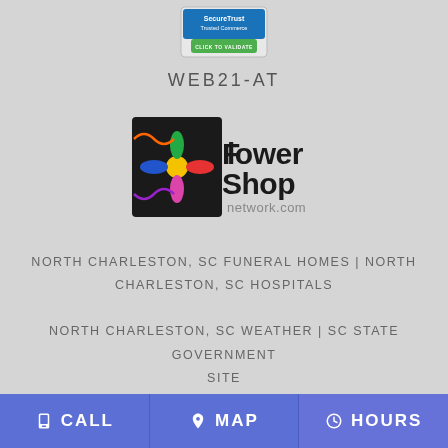[Figure (logo): SecureTrust Trusted Commerce - Click to Validate badge]
WEB21-AT
[Figure (logo): Flower Shop Network.com logo with colorful flower graphic]
NORTH CHARLESTON, SC FUNERAL HOMES | NORTH CHARLESTON, SC HOSPITALS
NORTH CHARLESTON, SC WEATHER | SC STATE GOVERNMENT SITE
PRIVACY POLICY | TERMS OF PURCHASE
CALL   MAP   HOURS